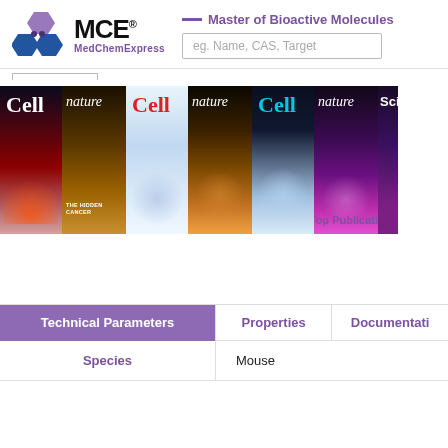[Figure (logo): MCE MedChemExpress logo with hexagonal molecule icon in blue and purple]
— Master of Bioactive Molecules
[Figure (screenshot): Search bar with placeholder text: eg. Name, CAS, Target]
[Figure (photo): Strip of scientific journal covers: Cell, nature, Cell, nature, Cell, nature, Science — Top Publications banner]
| Technical Parameters | Properties | Documentation |
| --- | --- | --- |
| Species | Mouse |  |